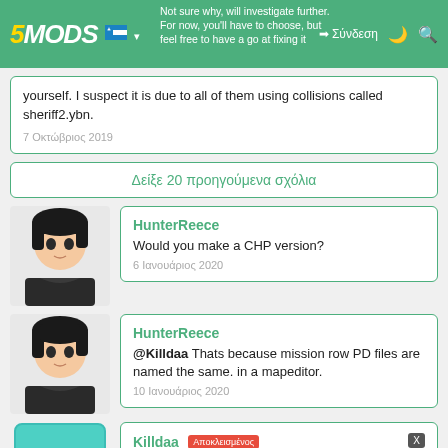5MODS — Not sure why, will investigate further. For now, you'll have to choose, but feel free to have a go at fixing it yourself. I suspect it is due to all of them using collisions called sheriff2.ybn. — Σύνδεση
Not sure why, will investigate further. For now, you'll have to choose, but feel free to have a go at fixing it yourself. I suspect it is due to all of them using collisions called sheriff2.ybn.
7 Οκτώβριος 2019
Δείξε 20 προηγούμενα σχόλια
HunterReece
Would you make a CHP version?
6 Ιανουάριος 2020
HunterReece
@Killdaa Thats because mission row PD files are named the same. in a mapeditor.
10 Ιανουάριος 2020
Killdaa Αποκλεισμένος
@3milo @HunterReece Okay if that is the case shouldn't he be able to just change his file names for it